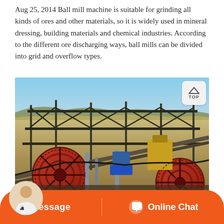Aug 25, 2014 Ball mill machine is suitable for grinding all kinds of ores and other materials, so it is widely used in mineral dressing, building materials and chemical industries. According to the different ore discharging ways, ball mills can be divided into grid and overflow types.
[Figure (photo): Outdoor industrial mining site showing ball mill machinery with large red grinding wheels, metal framework structures, conveyor belts, and industrial equipment under a clear blue sky with arid landscape in background.]